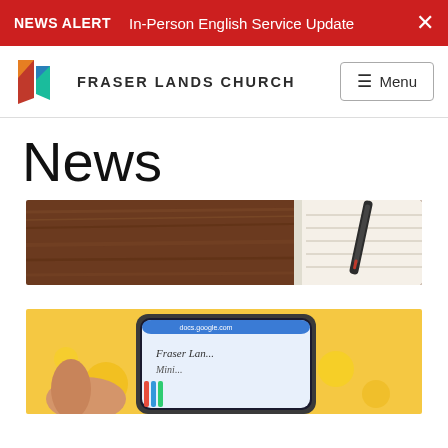NEWS ALERT  In-Person English Service Update  ×
[Figure (logo): Fraser Lands Church logo with stylized cross/flag shapes in red, orange, and teal]
FRASER LANDS CHURCH
≡ Menu
News
[Figure (photo): Photo of a wooden desk surface with a spiral-bound notebook and a pen on the right side]
[Figure (photo): Photo of a hand holding a smartphone with a yellow background, screen showing Fraser Lands Church Ministry content]